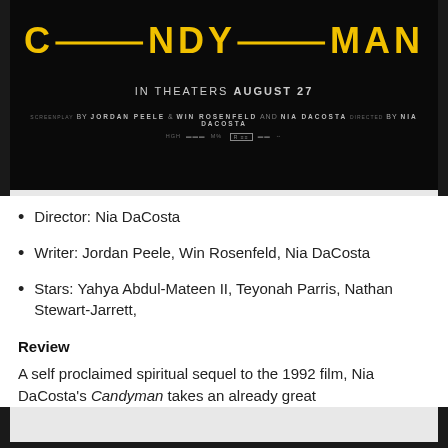[Figure (photo): Candyman movie poster with dark background, yellow stylized CANDYMAN title text, 'IN THEATERS AUGUST 27' subtitle, and screenplay/director credits including Jordan Peele, Win Rosenfeld, and Nia DaCosta]
Director: Nia DaCosta
Writer: Jordan Peele, Win Rosenfeld, Nia DaCosta
Stars: Yahya Abdul-Mateen II, Teyonah Parris, Nathan Stewart-Jarrett,
Review
A self proclaimed spiritual sequel to the 1992 film, Nia DaCosta's Candyman takes an already great